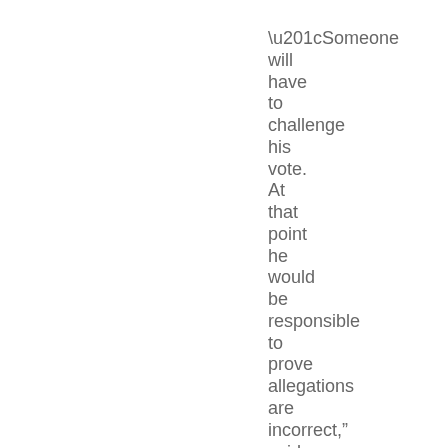“Someone will have to challenge his vote. At that point he would be responsible to prove allegations are incorrect,” said Nicholas.

The Gazette